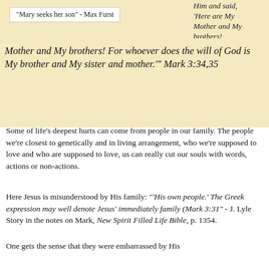"Mary seeks her son" - Max Furst
Him and said, 'Here are My
Mother and My brothers! For whoever does the will of God is My brother and My sister and mother.'" Mark 3:34,35
Some of life's deepest hurts can come from people in our family. The people we're closest to genetically and in living arrangement, who we're supposed to love and who are supposed to love, us can really cut our souls with words, actions or non-actions.
Here Jesus is misunderstood by His family: "'His own people.' The Greek expression may well denote Jesus' immediately family (Mark 3:31" - J. Lyle Story in the notes on Mark, New Spirit Filled Life Bible, p. 1354.
One gets the sense that they were embarrassed by His publicity and the controversy He caused. Afraid that He had 'lost it,' they came to take Him in hand to preserve peace with the Jewish leaders and the family's reputation.
Jesus did not let them silence Him. Rather, He repudiated